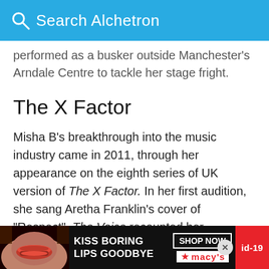Search Alchetron
performed as a busker outside Manchester's Arndale Centre to tackle her stage fright.
The X Factor
Misha B's breakthrough into the music industry came in 2011, through her appearance on the eighth series of UK version of The X Factor. In her first audition, she sang Aretha Franklin's cover of "Respect". The Voice recounted her performance as being "confident" and "show-stopping", and as a promising sign of Misha B's future in the competition. Noted for her "Lauryn Hill-like rap-singing style, she was praised by American record
[Figure (screenshot): Macy's advertisement banner at bottom of page with red lips photo, 'KISS BORING LIPS GOODBYE' text, SHOP NOW button, and Macy's logo with id-19 badge]